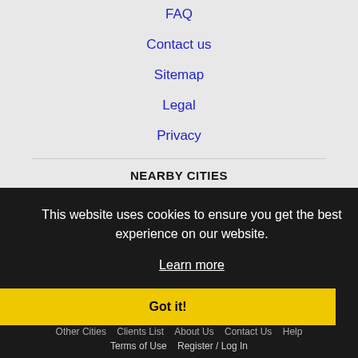FAQ
Contact us
Sitemap
Legal
Privacy
NEARBY CITIES
Enid, OK Jobs
Hutchinson, KS Jobs
This website uses cookies to ensure you get the best experience on our website.
Learn more
Got it!
Home  Profile and Resume  Browse Jobs  Employers  Other Cities  Clients List  About Us  Contact Us  Help  Terms of Use  Register / Log In